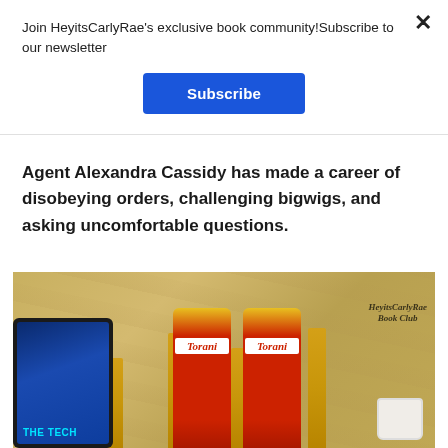Join HeyitsCarlyRae's exclusive book community!Subscribe to our newsletter
Subscribe
Agent Alexandra Cassidy has made a career of disobeying orders, challenging bigwigs, and asking uncomfortable questions.
[Figure (photo): A photo showing a tablet displaying 'The Tech' book cover with blue design, two red Torani syrup bottles, gold pendant lamp fixtures against a stone/travertine wall background, a white mug, and a HeyitsCarlyRae Book Club watermark]